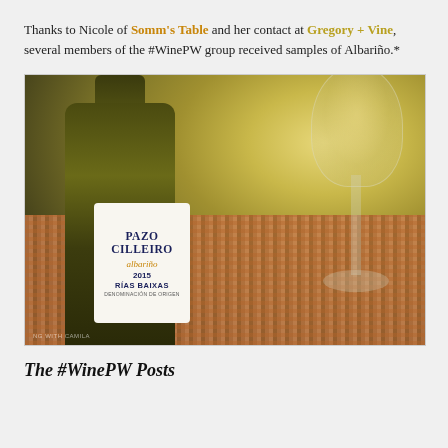Thanks to Nicole of Somm's Table and her contact at Gregory + Vine, several members of the #WinePW group received samples of Albariño.*
[Figure (photo): A bottle of Pazo Cilleiro Albariño 2015 Rías Baixas wine next to a glass of white wine, on a woven placemat.]
The #WinePW Posts